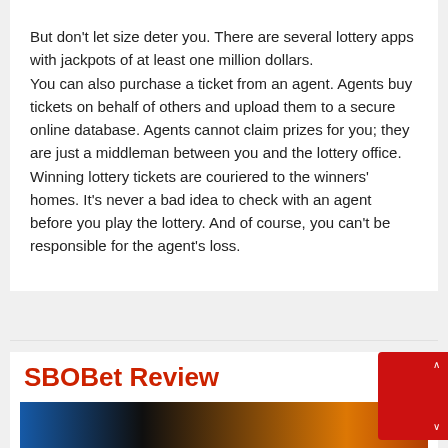But don't let size deter you. There are several lottery apps with jackpots of at least one million dollars.
You can also purchase a ticket from an agent. Agents buy tickets on behalf of others and upload them to a secure online database. Agents cannot claim prizes for you; they are just a middleman between you and the lottery office. Winning lottery tickets are couriered to the winners' homes. It's never a bad idea to check with an agent before you play the lottery. And of course, you can't be responsible for the agent's loss.
SBOBet Review
[Figure (photo): Dark banner image with blue and orange fire/light effects, partially visible at page bottom]